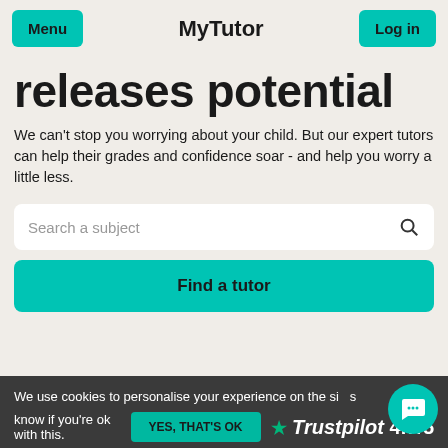Menu | MyTutor | Log in
releases potential
We can't stop you worrying about your child. But our expert tutors can help their grades and confidence soar - and help you worry a little less.
Search a subject
Find a tutor
We use cookies to personalise your experience on the site. Let us know if you're ok with this.
YES, THAT'S OK
Trustpilot 4.7/5